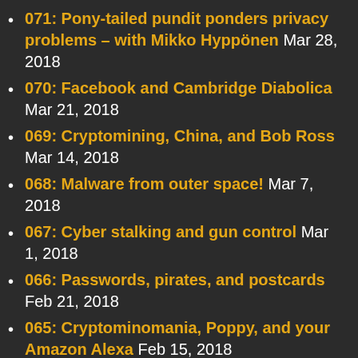071: Pony-tailed pundit ponders privacy problems – with Mikko Hyppönen Mar 28, 2018
070: Facebook and Cambridge Diabolica Mar 21, 2018
069: Cryptomining, China, and Bob Ross Mar 14, 2018
068: Malware from outer space! Mar 7, 2018
067: Cyber stalking and gun control Mar 1, 2018
066: Passwords, pirates, and postcards Feb 21, 2018
065: Cryptominomania, Poppy, and your Amazon Alexa Feb 15, 2018
064: So just a “teeny tiny” security issue then? Feb 7, 2018